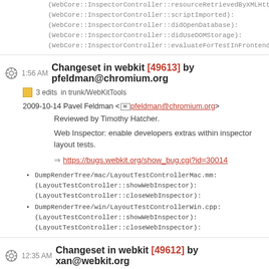(WebCore::InspectorController::resourceRetrievedByXMLHttpRequest):
(WebCore::InspectorController::scriptImported):
(WebCore::InspectorController::didOpenDatabase):
(WebCore::InspectorController::didUseDOMStorage):
(WebCore::InspectorController::evaluateForTestInFrontend):
1:56 AM Changeset in webkit [49613] by pfeldman@chromium.org
3 edits in trunk/WebKitTools
2009-10-14 Pavel Feldman <pfeldman@chromium.org>
Reviewed by Timothy Hatcher.
Web Inspector: enable developers extras within inspector layout tests.
https://bugs.webkit.org/show_bug.cgi?id=30014
DumpRenderTree/mac/LayoutTestControllerMac.mm:
(LayoutTestController::showWebInspector):
(LayoutTestController::closeWebInspector):
DumpRenderTree/win/LayoutTestControllerWin.cpp:
(LayoutTestController::showWebInspector):
(LayoutTestController::closeWebInspector):
12:35 AM Changeset in webkit [49612] by xan@webkit.org
2 edits in trunk/WebKitTools
2009-10-14 José Millán Soto <jmillan@igalia.com>